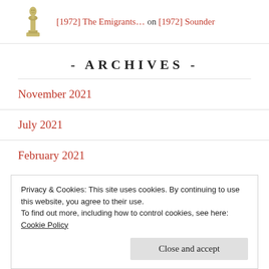[Figure (photo): Oscar statuette thumbnail image with link text '[1972] The Emigrants... on [1972] Sounder']
[1972] The Emigrants… on [1972] Sounder
- ARCHIVES -
November 2021
July 2021
February 2021
Privacy & Cookies: This site uses cookies. By continuing to use this website, you agree to their use.
To find out more, including how to control cookies, see here: Cookie Policy
Close and accept